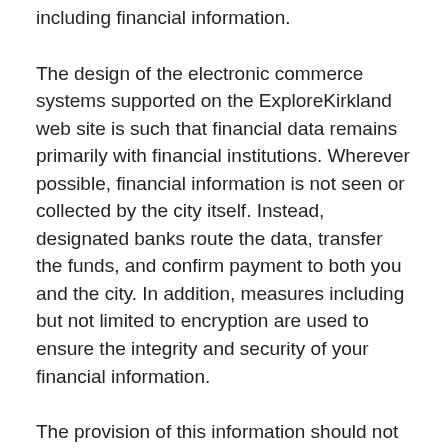including financial information.
The design of the electronic commerce systems supported on the ExploreKirkland web site is such that financial data remains primarily with financial institutions. Wherever possible, financial information is not seen or collected by the city itself. Instead, designated banks route the data, transfer the funds, and confirm payment to both you and the city. In addition, measures including but not limited to encryption are used to ensure the integrity and security of your financial information.
The provision of this information should not be construed in any way as giving business, legal, or other advice or warranting as fail proof the security of information provided via the ExploreKirkland web site.